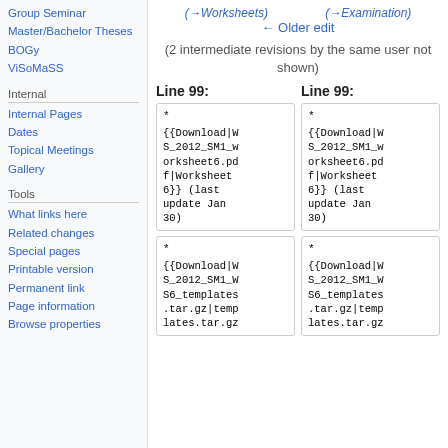Group Seminar
Master/Bachelor Theses
BOGy
ViSoMaSS
Internal
Internal Pages
Dates
Topical Meetings
Gallery
Tools
What links here
Related changes
Special pages
Printable version
Permanent link
Page information
Browse properties
(→Worksheets)    (→Examination)
← Older edit
(2 intermediate revisions by the same user not shown)
Line 99:    Line 99:
*
{{Download|WS_2012_SM1_worksheet6.pdf|Worksheet 6}} (last update Jan 30)
*
{{Download|WS_2012_SM1_worksheet6.pdf|Worksheet 6}} (last update Jan 30)
*
{{Download|WS_2012_SM1_WS6_templates.tar.gz|templates.tar.gz
*
{{Download|WS_2012_SM1_WS6_templates.tar.gz|templates.tar.gz